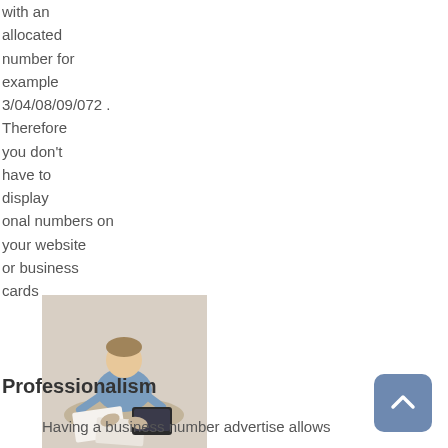with an allocated number for example 3/04/08/09/072 . Therefore you don't have to display onal numbers on your website or business cards
[Figure (photo): Person sitting on floor with papers and a laptop, viewed from above]
Professionalism
Having a business number advertise allows